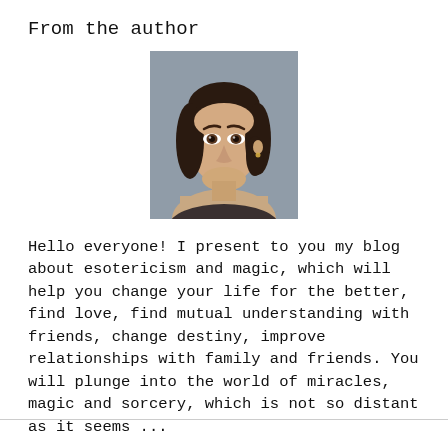From the author
[Figure (photo): Portrait photo of a young woman with dark hair pulled back, looking at the camera with a slight smile, photographed outdoors or against a blurred background.]
Hello everyone! I present to you my blog about esotericism and magic, which will help you change your life for the better, find love, find mutual understanding with friends, change destiny, improve relationships with family and friends. You will plunge into the world of miracles, magic and sorcery, which is not so distant as it seems ...